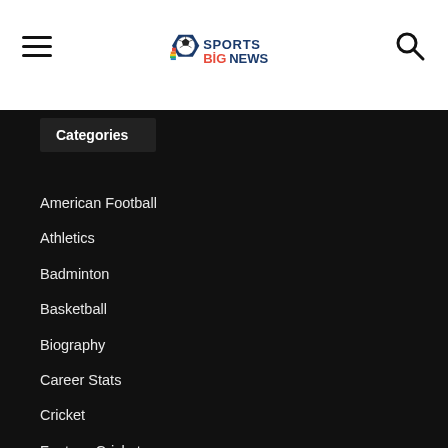[Figure (logo): Sports BigNews logo with soccer ball icon and colorful text]
Categories
American Football
Athletics
Badminton
Basketball
Biography
Career Stats
Cricket
Fantasy Cricket
Football
Formula 1